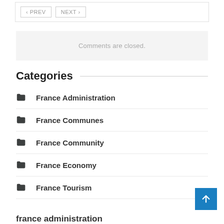< PREV   NEXT >
Comments are closed.
Categories
France Administration
France Communes
France Community
France Economy
France Tourism